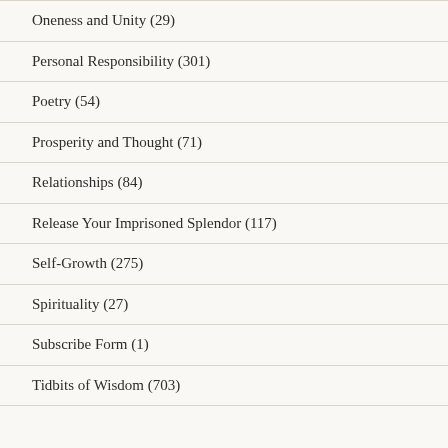Oneness and Unity (29)
Personal Responsibility (301)
Poetry (54)
Prosperity and Thought (71)
Relationships (84)
Release Your Imprisoned Splendor (117)
Self-Growth (275)
Spirituality (27)
Subscribe Form (1)
Tidbits of Wisdom (703)